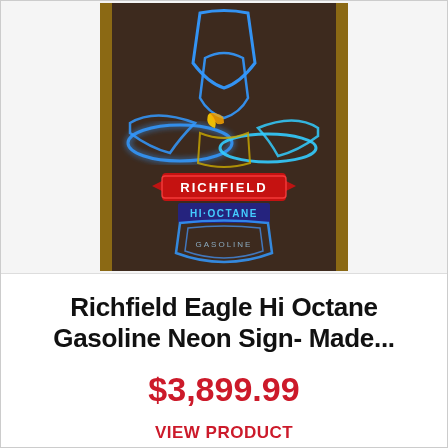[Figure (photo): Neon sign of a Richfield Hi-Octane Gasoline eagle logo, blue neon eagle with gold beak, red banner reading RICHFIELD HI-OCTANE, blue shield, displayed in a wooden frame against a brick wall background.]
Richfield Eagle Hi Octane Gasoline Neon Sign- Made...
$3,899.99
VIEW PRODUCT